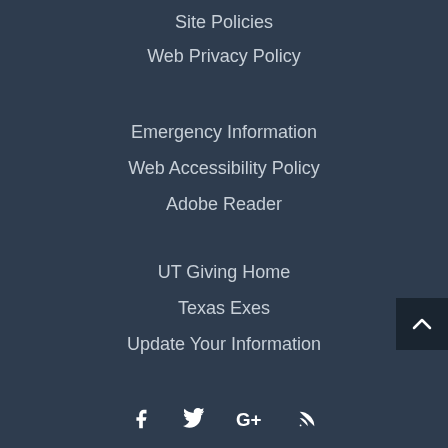Site Policies
Web Privacy Policy
Emergency Information
Web Accessibility Policy
Adobe Reader
UT Giving Home
Texas Exes
Update Your Information
[Figure (infographic): Social media icons: Facebook, Twitter, Google+, RSS feed]